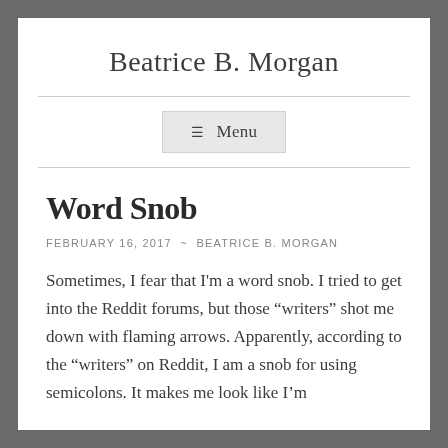Beatrice B. Morgan
☰ Menu
Word Snob
FEBRUARY 16, 2017 ~ BEATRICE B. MORGAN
Sometimes, I fear that I'm a word snob. I tried to get into the Reddit forums, but those "writers" shot me down with flaming arrows. Apparently, according to the "writers" on Reddit, I am a snob for using semicolons. It makes me look like I'm "showing off" and look down on everyone" and...